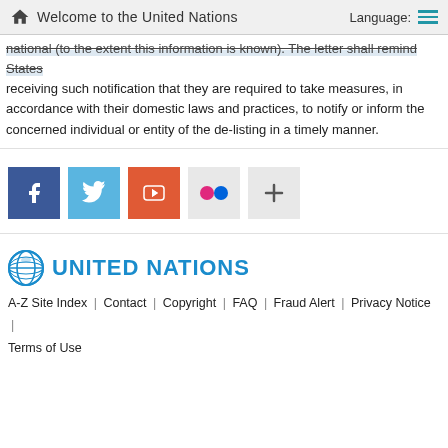Welcome to the United Nations | Language:
national (to the extent this information is known). The letter shall remind States receiving such notification that they are required to take measures, in accordance with their domestic laws and practices, to notify or inform the concerned individual or entity of the de-listing in a timely manner.
[Figure (other): Social media icons: Facebook, Twitter, YouTube, Flickr, More (+)]
[Figure (logo): United Nations globe logo with text UNITED NATIONS]
A-Z Site Index | Contact | Copyright | FAQ | Fraud Alert | Privacy Notice | Terms of Use